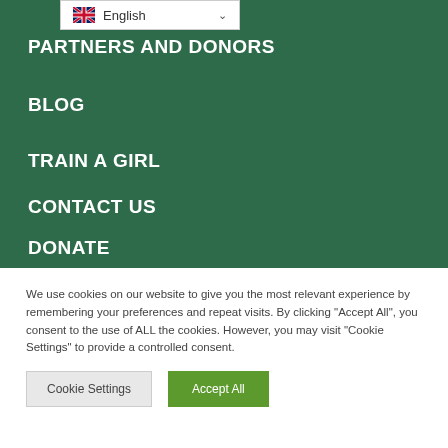[Figure (screenshot): Language selector dropdown showing UK flag and 'English' with a chevron arrow]
PARTNERS AND DONORS
BLOG
TRAIN A GIRL
CONTACT US
DONATE
We use cookies on our website to give you the most relevant experience by remembering your preferences and repeat visits. By clicking "Accept All", you consent to the use of ALL the cookies. However, you may visit "Cookie Settings" to provide a controlled consent.
Cookie Settings
Accept All